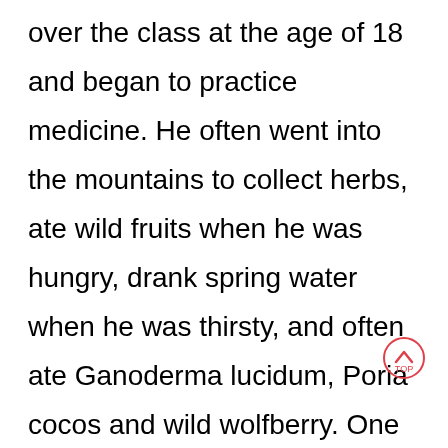over the class at the age of 18 and began to practice medicine. He often went into the mountains to collect herbs, ate wild fruits when he was hungry, drank spring water when he was thirsty, and often ate Ganoderma lucidum, Poria cocos and wild wolfberry. One day, he went into the mountain with a medicine basket in his hand and walked to a lotus pond. He saw an old man with curved eyebrows, big eyes and big belly lying by the pond sleeping. A piece of sore beside his black stabbed navel was rotten to pus and dripping a lot of black blood. LAN Caihe couldn't